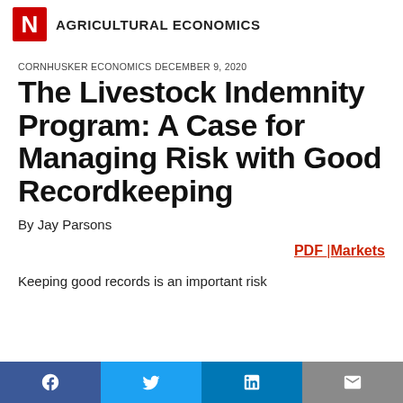AGRICULTURAL ECONOMICS
CORNHUSKER ECONOMICS DECEMBER 9, 2020
The Livestock Indemnity Program: A Case for Managing Risk with Good Recordkeeping
By Jay Parsons
PDF | Markets
Keeping good records is an important risk